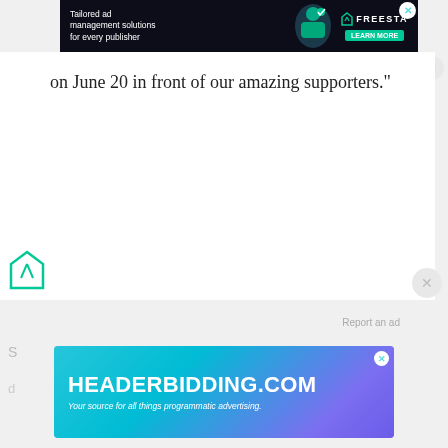[Figure (screenshot): Dark-themed banner ad for Freesta with text 'Tailored ad management solutions for every publisher' and a 'LEARN MORE' green button, with an illustrated character and close button]
on June 20 in front of our amazing supporters."
[Figure (logo): Freesta logo watermark in teal/green color at bottom left]
[Figure (screenshot): HEADERBIDDING.COM banner ad with subtitle 'Your source for all things programmatic advertising.' on a teal-to-purple gradient background with close button]
S...
d...